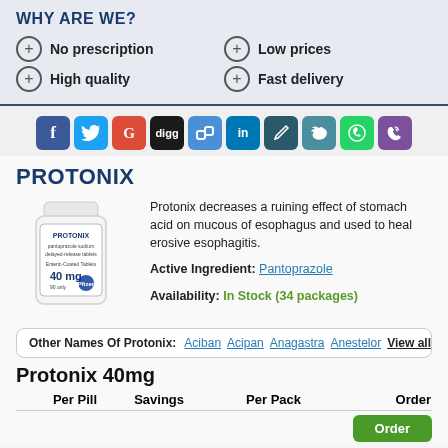WHY ARE WE?
No prescription
Low prices
High quality
Fast delivery
[Figure (infographic): Social media sharing icons: Facebook, Twitter, Google+, Digg, Delicious, LinkedIn, Pinboard, Twitter/Bird, WhatsApp, Viber]
PROTONIX
[Figure (photo): Protonix pill bottle - white medicine bottle with label showing Protonix 40mg]
Protonix decreases a ruining effect of stomach acid on mucous of esophagus and used to heal erosive esophagitis.
Active Ingredient: Pantoprazole
Availability: In Stock (34 packages)
Other Names Of Protonix: Aciban Acipan Anagastra Anestelor View all
Protonix 40mg
| Per Pill | Savings | Per Pack | Order |
| --- | --- | --- | --- |